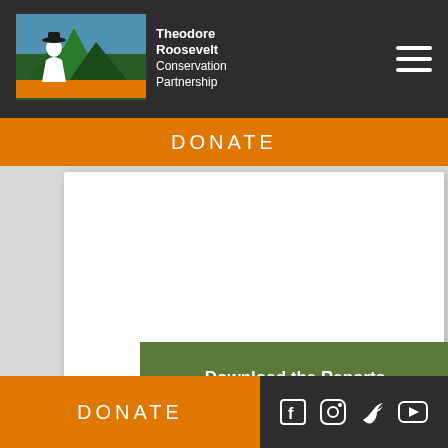[Figure (logo): Theodore Roosevelt Conservation Partnership logo with mountainscape and silhouette figure in green/orange/blue colors]
DONATE
[Figure (other): Download the Reports button (green rectangle with white text)]
[Figure (photo): Sky and landscape photo showing blue sky with clouds and sandy/beach foreground]
DONATE
[Figure (other): Social media icons: Facebook, Instagram, Twitter, YouTube]